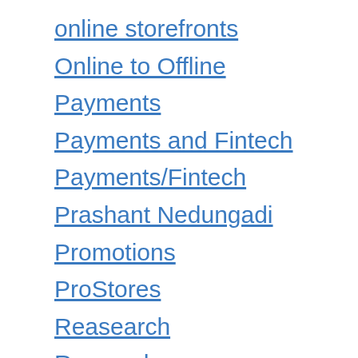online storefronts
Online to Offline
Payments
Payments and Fintech
Payments/Fintech
Prashant Nedungadi
Promotions
ProStores
Reasearch
Research
Sales Channels
self-serve
Sharing Economy